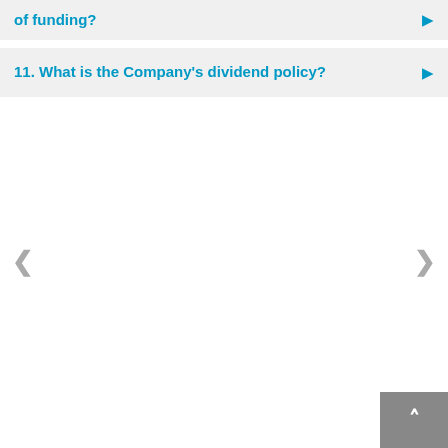of funding?
11. What is the Company's dividend policy?
<
>
[Figure (other): Scroll to top button with upward arrow]